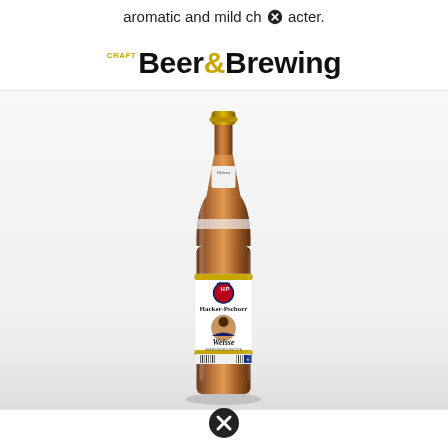aromatic and mild character.
[Figure (logo): Craft Beer & Brewing magazine logo with 'CRAFT' in small gold text and 'Beer&Brewing' in large bold black text with gold ampersand]
[Figure (photo): A bottle of Hacker-Pschorr Weisse beer (Hefeweizen) with gold cap, brown glass bottle, white label showing the Hacker-Pschorr logo and 'Weisse' text, photographed against a white/light grey background]
[Figure (other): Close button (X in circle) icon at bottom of page]